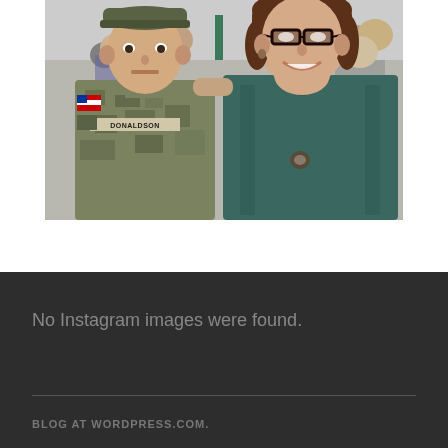[Figure (photo): A photograph of two people posing together indoors at what appears to be a military event. On the left is a man wearing a US Army military camouflage uniform with a name tape reading 'DONALDSON' and a US flag patch on the sleeve. On the right is a woman wearing glasses and a teal/dark green top, smiling. Background shows a crowd of people in a large indoor facility.]
No Instagram images were found.
BLOG AT WORDPRESS.COM.